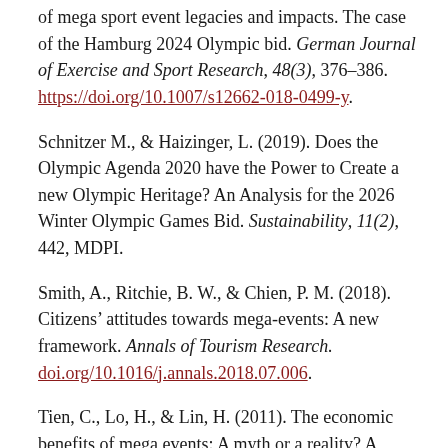of mega sport event legacies and impacts. The case of the Hamburg 2024 Olympic bid. German Journal of Exercise and Sport Research, 48(3), 376–386. https://doi.org/10.1007/s12662-018-0499-y.
Schnitzer M., & Haizinger, L. (2019). Does the Olympic Agenda 2020 have the Power to Create a new Olympic Heritage? An Analysis for the 2026 Winter Olympic Games Bid. Sustainability, 11(2), 442, MDPI.
Smith, A., Ritchie, B. W., & Chien, P. M. (2018). Citizens' attitudes towards mega-events: A new framework. Annals of Tourism Research. doi.org/10.1016/j.annals.2018.07.006.
Tien, C., Lo, H., & Lin, H. (2011). The economic benefits of mega events: A myth or a reality? A